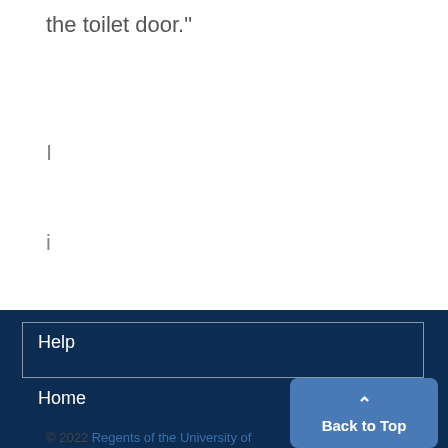the toilet door."
I
i
i
Help
Home
© 2022 Regents of the University of